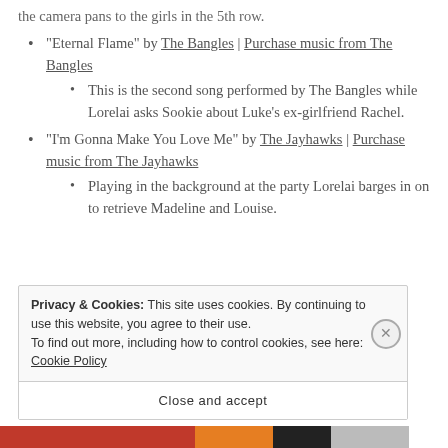the camera pans to the girls in the 5th row.
"Eternal Flame" by The Bangles | Purchase music from The Bangles
  • This is the second song performed by The Bangles while Lorelai asks Sookie about Luke's ex-girlfriend Rachel.
"I'm Gonna Make You Love Me" by The Jayhawks | Purchase music from The Jayhawks
  • Playing in the background at the party Lorelai barges in on to retrieve Madeline and Louise.
Privacy & Cookies: This site uses cookies. By continuing to use this website, you agree to their use.
To find out more, including how to control cookies, see here: Cookie Policy
Close and accept